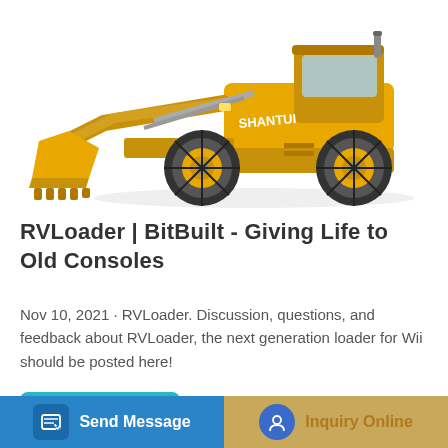[Figure (illustration): Yellow Shantui wheel loader / front-end loader construction machine on white background]
RVLoader | BitBuilt - Giving Life to Old Consoles
Nov 10, 2021 · RVLoader. Discussion, questions, and feedback about RVLoader, the next generation loader for Wii should be posted here!
Learn More
Send Message
Inquiry Online